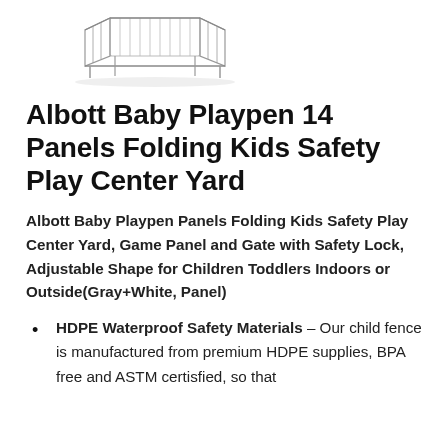[Figure (illustration): Sketch/line drawing of a baby playpen with panels, shown from a slightly elevated angle.]
Albott Baby Playpen 14 Panels Folding Kids Safety Play Center Yard
Albott Baby Playpen Panels Folding Kids Safety Play Center Yard, Game Panel and Gate with Safety Lock, Adjustable Shape for Children Toddlers Indoors or Outside(Gray+White,  Panel)
HDPE Waterproof Safety Materials – Our child fence is manufactured from premium HDPE supplies, BPA free and ASTM certisfied, so that